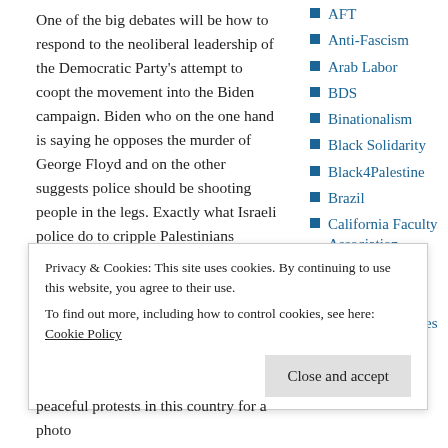One of the big debates will be how to respond to the neoliberal leadership of the Democratic Party’s attempt to coopt the movement into the Biden campaign. Biden who on the one hand is saying he opposes the murder of George Floyd and on the other suggests police should be shooting people in the legs. Exactly what Israeli police do to cripple Palestinians protestors in Gaza, every day.
AFT
Anti-Fascism
Arab Labor
BDS
Binationalism
Black Solidarity
Black4Palestine
Brazil
California Faculty Association
Canada
Christoph Glanz
Confédération des
So, the major political question that’s going to arise is, should the movement essentially fold into the democrats’ campaign against Trump?
Privacy & Cookies: This site uses cookies. By continuing to use this website, you agree to their use.
To find out more, including how to control cookies, see here: Cookie Policy
peaceful protests in this country for a photo